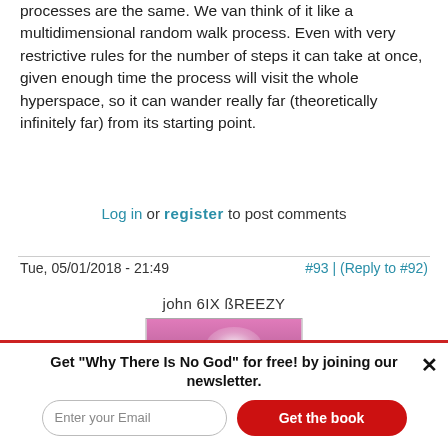processes are the same. We van think of it like a multidimensional random walk process. Even with very restrictive rules for the number of steps it can take at once, given enough time the process will visit the whole hyperspace, so it can wander really far (theoretically infinitely far) from its starting point.
Log in or register to post comments
Tue, 05/01/2018 - 21:49
#93 | (Reply to #92)
john 6IX ßREEZY
[Figure (photo): User avatar photo of john 6IX ßREEZY, showing a close-up image with pink/purple background]
Get "Why There Is No God" for free! by joining our newsletter.